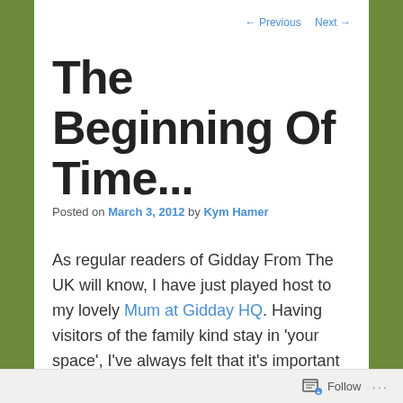← Previous   Next →
The Beginning Of Time...
Posted on March 3, 2012 by Kym Hamer
As regular readers of Gidday From The UK will know, I have just played host to my lovely Mum at Gidday HQ. Having visitors of the family kind stay in 'your space', I've always felt that it's important to sprinkle the intensity of trying to cram 18 months apart
Follow ...